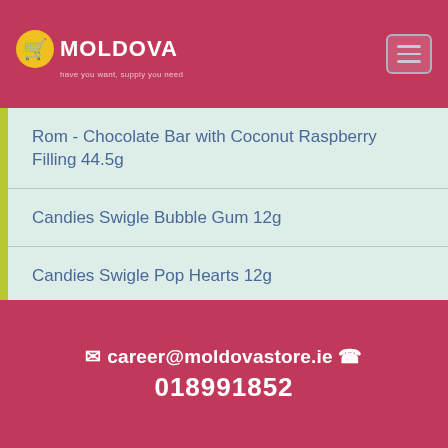MOLDOVA
Rom - Chocolate Bar with Coconut Raspberry Filling 44.5g
Candies Swigle Bubble Gum 12g
Candies Swigle Pop Hearts 12g
Candies Swigle Pop Watermelon 12g
Orbit - Bubblemint 84g
✉ career@moldovastore.ie ☎ 018991852